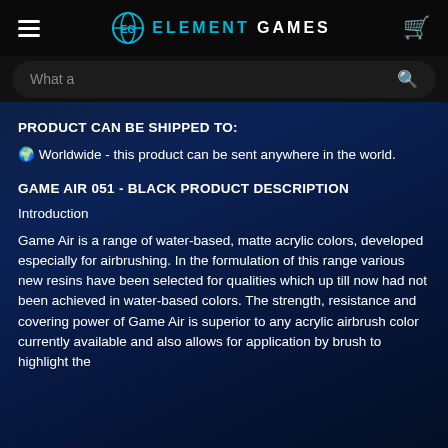Element Games - navigation bar with hamburger menu, Element Games logo, and cart icon
What a [search bar]
PRODUCT CAN BE SHIPPED TO:
🌍 Worldwide - this product can be sent anywhere in the world.
GAME AIR 051 - BLACK PRODUCT DESCRIPTION
Introduction
Game Air is a range of water-based, matte acrylic colors, developed especially for airbrushing. In the formulation of this range various new resins have been selected for qualities which up till now had not been achieved in water-based colors. The strength, resistance and covering power of Game Air is superior to any acrylic airbrush color currently available and also allows for application by brush to highlight the